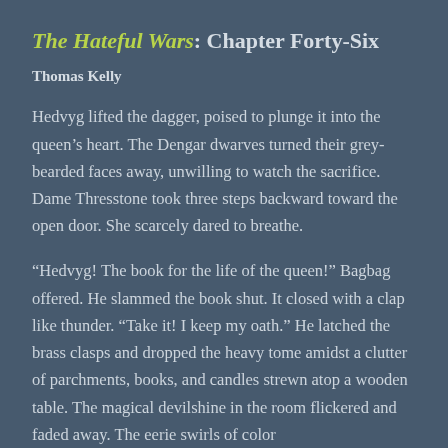The Hateful Wars: Chapter Forty-Six
Thomas Kelly
Hedvyg lifted the dagger, poised to plunge it into the queen’s heart. The Dengar dwarves turned their grey-bearded faces away, unwilling to watch the sacrifice. Dame Thresstone took three steps backward toward the open door. She scarcely dared to breathe.
“Hedvyg! The book for the life of the queen!” Bagbag offered. He slammed the book shut. It closed with a clap like thunder. “Take it! I keep my oath.” He latched the brass clasps and dropped the heavy tome amidst a clutter of parchments, books, and candles strewn atop a wooden table. The magical devilshine in the room flickered and faded away. The eerie swirls of color